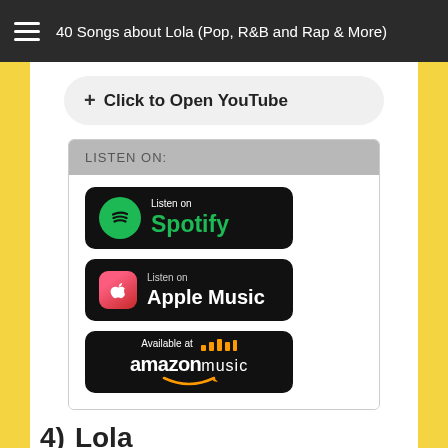40 Songs about Lola (Pop, R&B and Rap & More)
+ Click to Open YouTube
LISTEN ON:
[Figure (logo): Listen on Spotify badge]
[Figure (logo): Listen on Apple Music badge]
[Figure (logo): Available at Amazon Music badge]
4)  Lola
Artist: MIKA